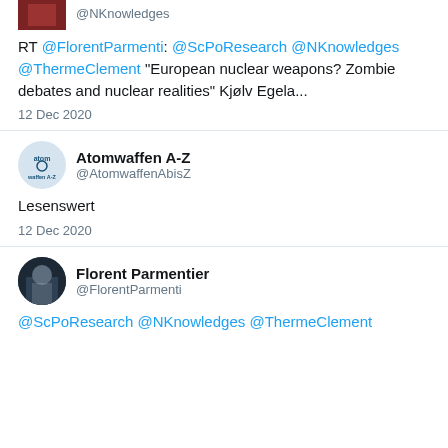RT @FlorentParmenti: @ScPoResearch @NKnowledges @ThermeClement "European nuclear weapons? Zombie debates and nuclear realities" Kjølv Egela...
12 Dec 2020
Atomwaffen A-Z @AtomwaffenAbisZ
Lesenswert
12 Dec 2020
Florent Parmentier @FlorentParmenti
@ScPoResearch @NKnowledges @ThermeClement